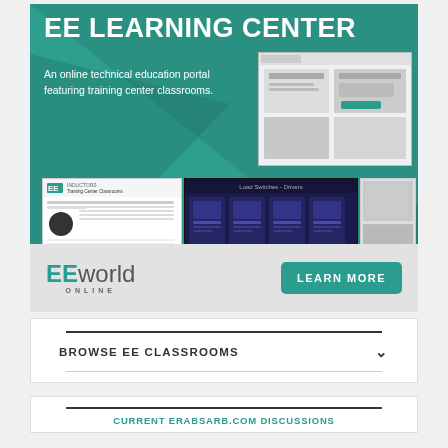[Figure (screenshot): EE Learning Center advertisement banner with green background, title, subtitle, and website screenshots]
EE LEARNING CENTER
An online technical education portal featuring training center classrooms.
[Figure (screenshot): EEworld Online logo with LEARN MORE button]
BROWSE EE CLASSROOMS
CURRENT ERABSARB.COM DISCUSSIONS